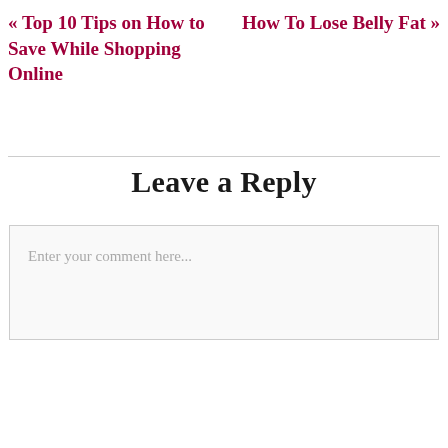« Top 10 Tips on How to Save While Shopping Online
How To Lose Belly Fat »
Leave a Reply
Enter your comment here...